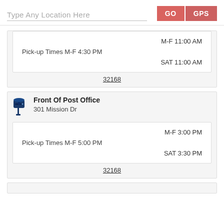Type Any Location Here
GO
GPS
M-F 11:00 AM
Pick-up Times M-F 4:30 PM
SAT 11:00 AM
32168
Front Of Post Office
301 Mission Dr
M-F 3:00 PM
Pick-up Times M-F 5:00 PM
SAT 3:30 PM
32168